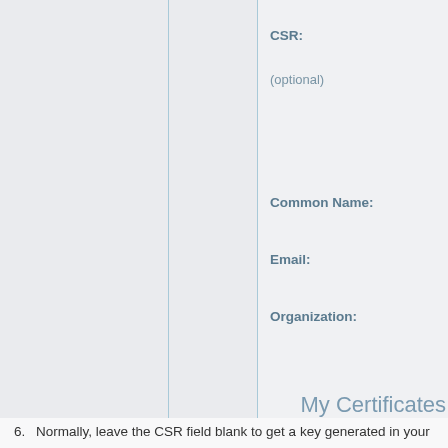CSR:
(optional)
Common Name:
Email:
Organization:
My Certificates
6. Normally, leave the CSR field blank to get a key generated in your browser.
7. Press "Request Certificate".
8. Your certificate is generated and should be automatically imported